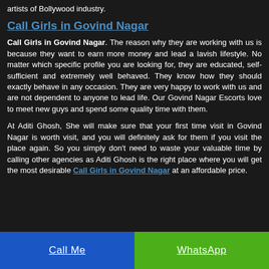artists of Bollywood industry.
Call Girls in Govind Nagar
Call Girls in Govind Nagar. The reason why they are working with us is because they want to earn more money and lead a lavish lifestyle. No matter which specific profile you are looking for, they are educated, self-sufficient and extremely well behaved. They know how they should exactly behave in any occasion. They are very happy to work with us and are not dependent to anyone to lead life. Our Govind Nagar Escorts love to meet new guys and spend some quality time with them.
At Aditi Ghosh, She will make sure that your first time visit in Govind Nagar is worth visit, and you will definitely ask for them if you visit the place again. So you simply don't need to waste your valuable time by calling other agencies as Aditi Ghosh is the right place where you will get the most desirable Call Girls in Govind Nagar at an affordable price.
Call Me | WhatsApp